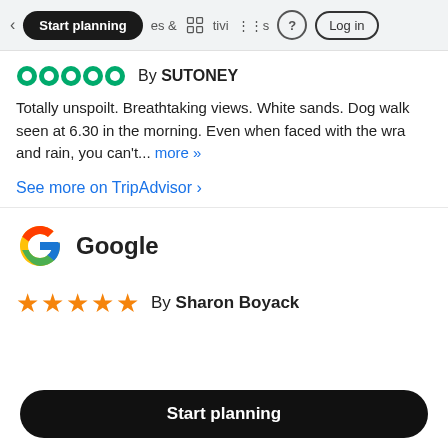Start planning | & activities | ? | Log in
By SUTONEY
Totally unspoilt. Breathtaking views. White sands. Dog walk seen at 6.30 in the morning. Even when faced with the wra and rain, you can't... more »
See more on TripAdvisor ›
[Figure (logo): Google logo - colorful G]
Google
By Sharon Boyack
Start planning